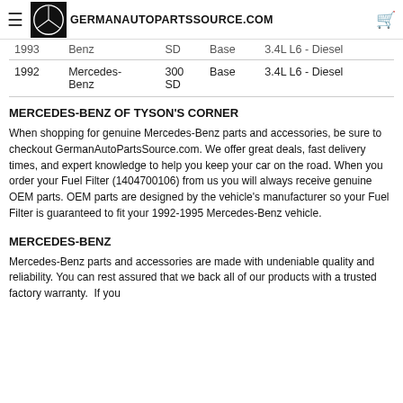GERMANAUTOPARTSSOURCE.COM
| Year | Make | Model | Submodel | Engine |
| --- | --- | --- | --- | --- |
| 1993 | Mercedes-Benz | 300 SD | Base | 3.4L L6 - Diesel |
| 1992 | Mercedes-Benz | 300 SD | Base | 3.4L L6 - Diesel |
MERCEDES-BENZ OF TYSON'S CORNER
When shopping for genuine Mercedes-Benz parts and accessories, be sure to checkout GermanAutoPartsSource.com. We offer great deals, fast delivery times, and expert knowledge to help you keep your car on the road. When you order your Fuel Filter (1404700106) from us you will always receive genuine OEM parts. OEM parts are designed by the vehicle's manufacturer so your Fuel Filter is guaranteed to fit your 1992-1995 Mercedes-Benz vehicle.
MERCEDES-BENZ
Mercedes-Benz parts and accessories are made with undeniable quality and reliability. You can rest assured that we back all of our products with a trusted factory warranty.  If you